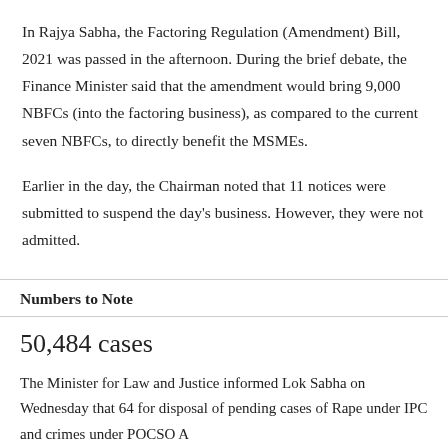In Rajya Sabha, the Factoring Regulation (Amendment) Bill, 2021 was passed in the afternoon. During the brief debate, the Finance Minister said that the amendment would bring 9,000 NBFCs (into the factoring business), as compared to the current seven NBFCs, to directly benefit the MSMEs.
Earlier in the day, the Chairman noted that 11 notices were submitted to suspend the day's business. However, they were not admitted.
The Coconut Development Board (Amendment) Bill, 2021 was introduced before the House adjourned.
Numbers to Note
50,484 cases
The Minister for Law and Justice informed Lok Sabha on Wednesday that 64 for disposal of pending cases of Rape under IPC and crimes under POCSO A